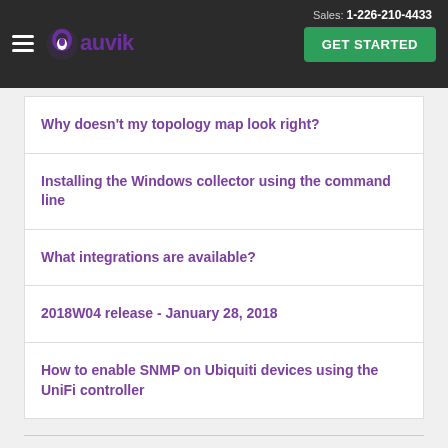Sales: 1-226-210-4433 | Auvik | GET STARTED
Why doesn't my topology map look right?
Installing the Windows collector using the command line
What integrations are available?
2018W04 release - January 28, 2018
How to enable SNMP on Ubiquiti devices using the UniFi controller